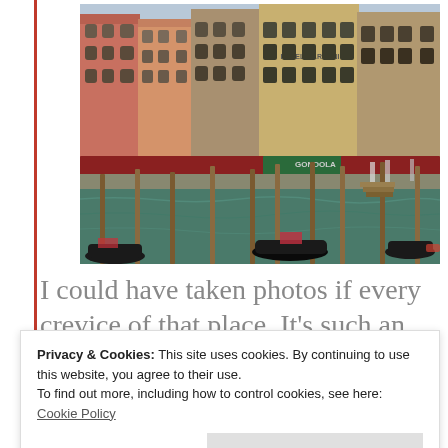[Figure (photo): Photograph of the Grand Canal in Venice, Italy, showing colorful historic buildings along the waterfront including Hotel Marconi, gondolas moored at wooden posts in the foreground, and outdoor restaurant seating along the canal.]
I could have taken photos if every crevice of that place. It's such an
Privacy & Cookies: This site uses cookies. By continuing to use this website, you agree to their use.
To find out more, including how to control cookies, see here: Cookie Policy
Close and accept
There is something so lovely about